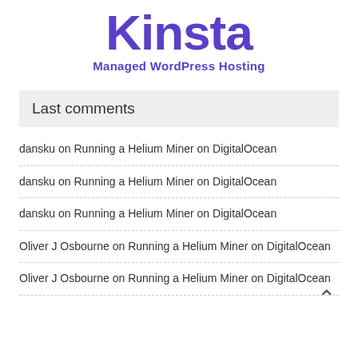[Figure (logo): Kinsta logo — large bold purple text reading 'Kinsta' with subtitle 'Managed WordPress Hosting' in purple below]
Last comments
dansku on Running a Helium Miner on DigitalOcean
dansku on Running a Helium Miner on DigitalOcean
dansku on Running a Helium Miner on DigitalOcean
Oliver J Osbourne on Running a Helium Miner on DigitalOcean
Oliver J Osbourne on Running a Helium Miner on DigitalOcean